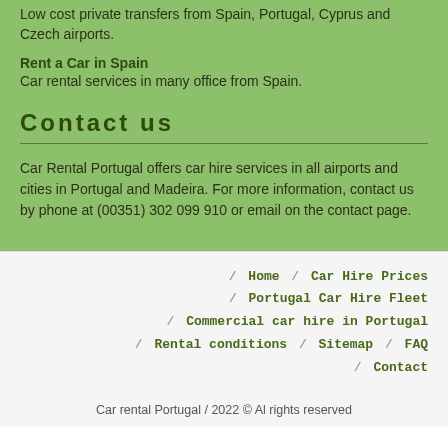Low cost private transfers from Spain, Portugal, Cyprus and Czech airports.
Rent a Car in Spain
Car rental services in many office from Spain.
Contact us
Car Rental Portugal offers car hire services in all airports and cities in Portugal and Madeira. For more information, contact us by phone at (00351) 302 099 910 or email on the contact page.
/ Home / Car Hire Prices / Portugal Car Hire Fleet / Commercial car hire in Portugal / Rental conditions / Sitemap / FAQ / Contact
Car rental Portugal / 2022 © Al rights reserved